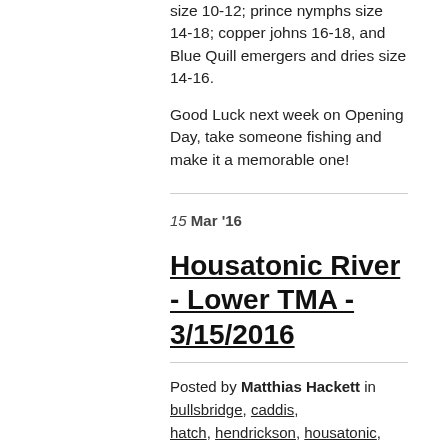size 10-12; prince nymphs size 14-18; copper johns 16-18, and Blue Quill emergers and dries size 14-16.
Good Luck next week on Opening Day, take someone fishing and make it a memorable one!
15 Mar '16
Housatonic River - Lower TMA - 3/15/2016
Posted by Matthias Hackett in bullsbridge, caddis, hatch, hendrickson, housatonic, lowertma, scottrods, stonefly, trout, troutmanagementarea
1 Comment
The lower trout management area (TMA - Below